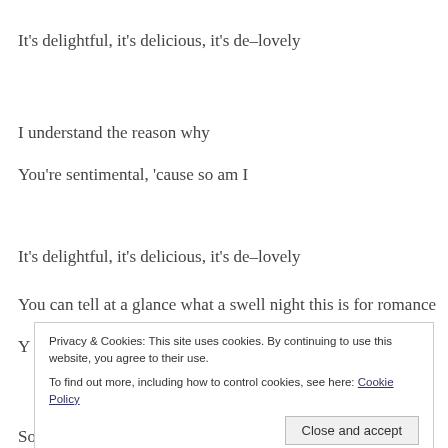It's delightful, it's delicious, it's de–lovely
I understand the reason why
You're sentimental, 'cause so am I
It's delightful, it's delicious, it's de–lovely
You can tell at a glance what a swell night this is for romance
Y
So please be sweet, my chickadee
Privacy & Cookies: This site uses cookies. By continuing to use this website, you agree to their use. To find out more, including how to control cookies, see here: Cookie Policy